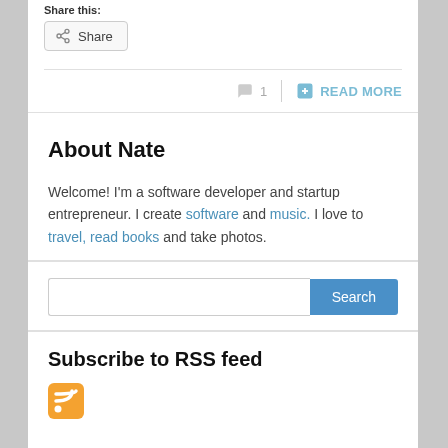Share this:
[Figure (screenshot): Share button with share icon]
1  READ MORE
About Nate
Welcome! I'm a software developer and startup entrepreneur. I create software and music. I love to travel, read books and take photos.
[Figure (screenshot): Search input field and Search button]
Subscribe to RSS feed
[Figure (logo): RSS feed orange icon]